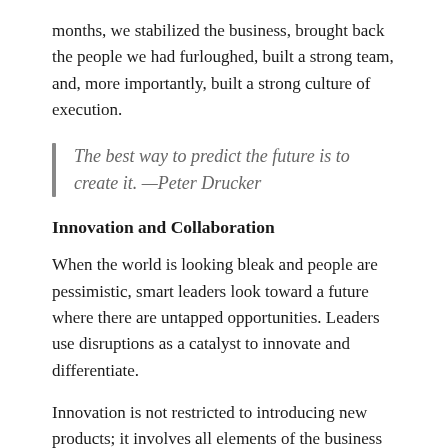months, we stabilized the business, brought back the people we had furloughed, built a strong team, and, more importantly, built a strong culture of execution.
The best way to predict the future is to create it. —Peter Drucker
Innovation and Collaboration
When the world is looking bleak and people are pessimistic, smart leaders look toward a future where there are untapped opportunities. Leaders use disruptions as a catalyst to innovate and differentiate.
Innovation is not restricted to introducing new products; it involves all elements of the business